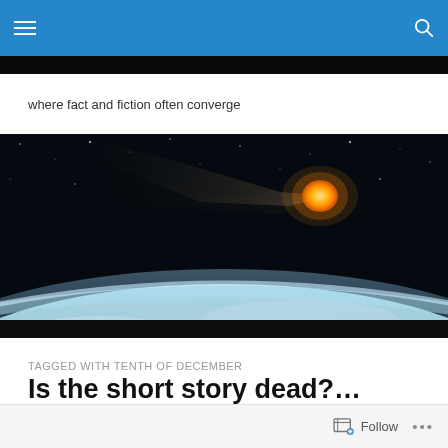Navigation header with hamburger menu and search icon
[Figure (photo): Space scene with a glowing meteor/fireball streaking toward Earth's atmosphere against a dark starfield background]
where fact and fiction often converge
TAGGED WITH TENTH OF DECEMBER
Is the short story dead?...
Follow  ...